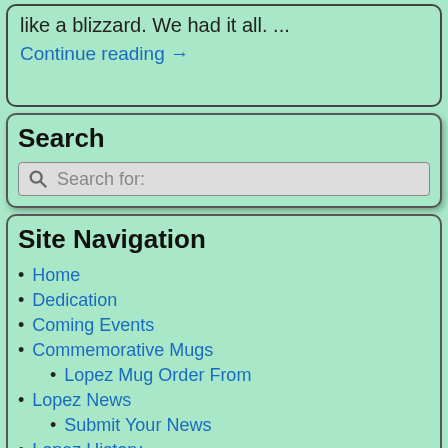like a blizzard.  We had it all.   ...
Continue reading →
Search
Search for:
Site Navigation
Home
Dedication
Coming Events
Commemorative Mugs
Lopez Mug Order From
Lopez News
Submit Your News
Lopez History
Lopez History Book
Businesses
I Remember Lopez
Items of Interest...